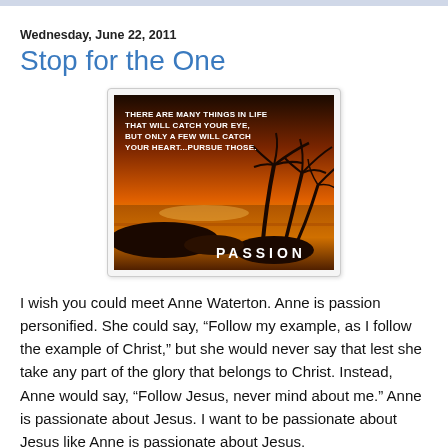Wednesday, June 22, 2011
Stop for the One
[Figure (photo): A tropical beach sunset with palm trees silhouetted against a golden sky and the word PASSION overlaid, with quote text: THERE ARE MANY THINGS IN LIFE THAT WILL CATCH YOUR EYE, BUT ONLY A FEW WILL CATCH YOUR HEART...PURSUE THOSE.]
I wish you could meet Anne Waterton. Anne is passion personified. She could say, “Follow my example, as I follow the example of Christ,” but she would never say that lest she take any part of the glory that belongs to Christ. Instead, Anne would say, “Follow Jesus, never mind about me.” Anne is passionate about Jesus. I want to be passionate about Jesus like Anne is passionate about Jesus.
Anne has never, and will never be the ‘face’ of public ministry. She will never tour with the Women of Faith or